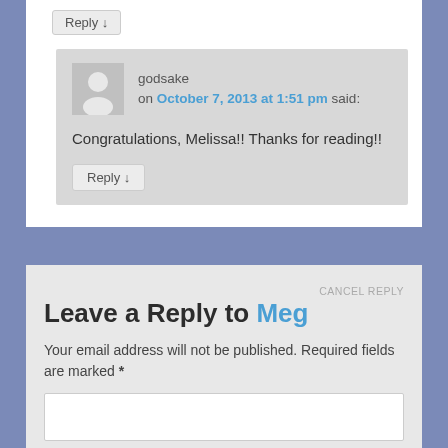Reply ↓
godsake
on October 7, 2013 at 1:51 pm said:
Congratulations, Melissa!! Thanks for reading!!
Reply ↓
CANCEL REPLY
Leave a Reply to Meg
Your email address will not be published. Required fields are marked *